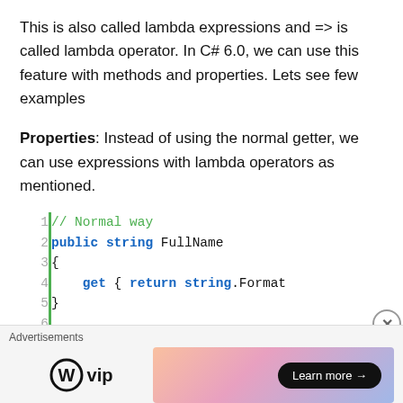This is also called lambda expressions and => is called lambda operator. In C# 6.0, we can use this feature with methods and properties. Lets see few examples
Properties: Instead of using the normal getter, we can use expressions with lambda operators as mentioned.
[Figure (screenshot): Code block showing lines 1-8. Line 1: // Normal way (comment in green). Line 2: public string FullName (keywords in blue). Line 3: {. Line 4:     get { return string.Format. Line 5: }. Line 6: (empty). Line 7: // Using Expression (C# 6.0) (comment in green). Line 8: public string FullName => stri (partially visible, keywords in blue). Left side has green vertical bar and gray line numbers.]
Advertisements
[Figure (logo): WordPress VIP logo with WordPress W icon in a circle followed by 'vip' text]
[Figure (infographic): Advertisement banner with gradient pink-purple-blue background and 'Learn more →' button in dark pill shape]